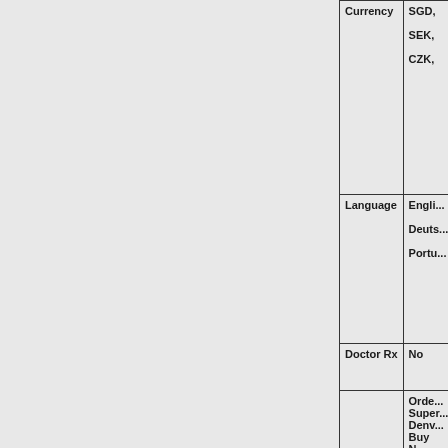|  |  |
| --- | --- |
| Currency | SGD,
SEK,
CZK, |
| Language | English
Deutsch
Portu... |
| Doctor Rx | No |
|  | Order...
Super...
Denv...
Buy N...
Super...
India... |